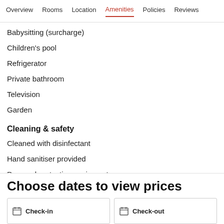Overview  Rooms  Location  Amenities  Policies  Reviews
Babysitting (surcharge)
Children's pool
Refrigerator
Private bathroom
Television
Garden
Cleaning & safety
Cleaned with disinfectant
Hand sanitiser provided
Personal protective equipment
Social distancing
Choose dates to view prices
Check-in
Check-out